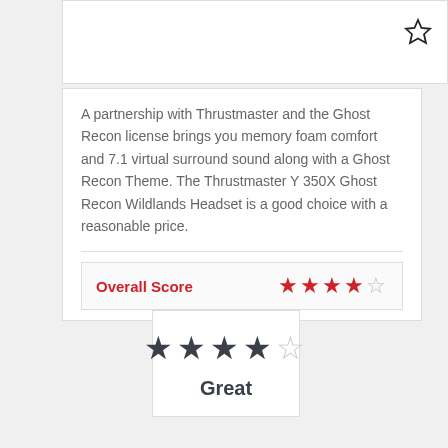[Figure (other): Star icon (outline) in top-right of white box]
A partnership with Thrustmaster and the Ghost Recon license brings you memory foam comfort and 7.1 virtual surround sound along with a Ghost Recon Theme. The Thrustmaster Y 350X Ghost Recon Wildlands Headset is a good choice with a reasonable price.
Overall Score ★★★★☆
[Figure (infographic): Score card with 4 out of 5 dark stars and label 'Great']